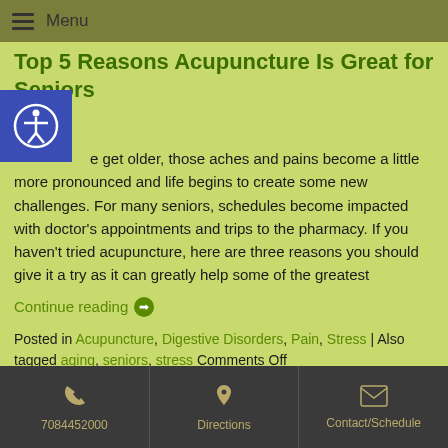Menu
Top 5 Reasons Acupuncture Is Great for Seniors
As we get older, those aches and pains become a little more pronounced and life begins to create some new challenges. For many seniors, schedules become impacted with doctor's appointments and trips to the pharmacy. If you haven't tried acupuncture, here are three reasons you should give it a try as it can greatly help some of the greatest
Continue reading →
Posted in Acupuncture, Digestive Disorders, Pain, Stress | Also tagged aging, seniors, stress Comments Off
7084452000 | Directions | Contact/Schedule